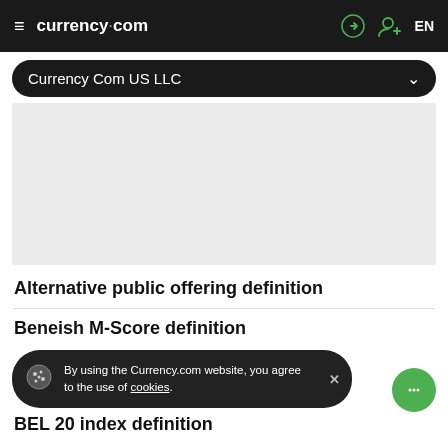currency.com   EN
Currency Com US LLC
[Figure (other): Gray placeholder image area for Currency Com US LLC content]
Alternative public offering definition
Beneish M-Score definition
BEL 20 index definition
By using the Currency.com website, you agree to the use of cookies.